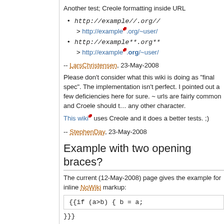Another test; Creole formatting inside URL
http://example//.org/...  > http://example.org/~user/
http://example**.org**...  > http://example.org/~user/ (bold)
-- LarsChristensen, 23-May-2008
Please don't consider what this wiki is doing as "final spec". The implementation isn't perfect. I pointed out a few deficiencies here for sure. ~ urls are fairly common and Croele should treat ~ as any other character.
This wiki uses Creole and it does a better ... tests. ;)
-- StephenDay, 23-May-2008
Example with two opening braces?
The current (12-May-2008) page gives the example for inline NoWiki markup:
{{if (a>b) { b = a;
}}}